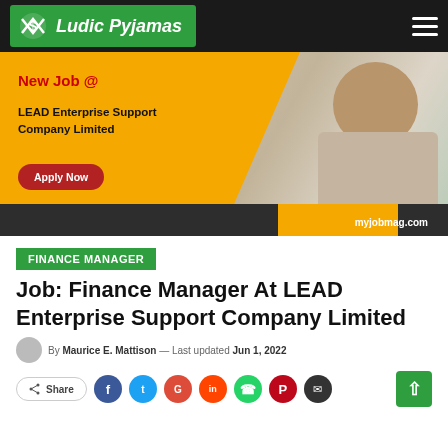Ludic Pyjamas
[Figure (infographic): Job advertisement banner for LEAD Enterprise Support Company Limited with 'New Job @' heading, company name, Apply Now button, and myjobmag.com branding. Orange and dark background with professional woman photo.]
FINANCE MANAGER
Job: Finance Manager At LEAD Enterprise Support Company Limited
By Maurice E. Mattison — Last updated Jun 1, 2022
Share (social buttons: Facebook, Twitter, Google, Reddit, WhatsApp, Pinterest, Email)